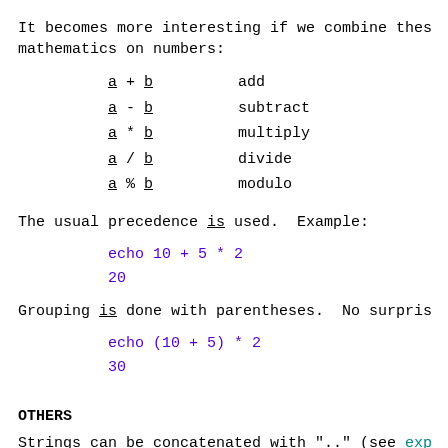It becomes more interesting if we combine these mathematics on numbers:
a + b    add
a - b    subtract
a * b    multiply
a / b    divide
a % b    modulo
The usual precedence is used.  Example:
echo 10 + 5 * 2
20
Grouping is done with parentheses.  No surpris
echo (10 + 5) * 2
30
OTHERS
Strings can be concatenated with ".." (see exp